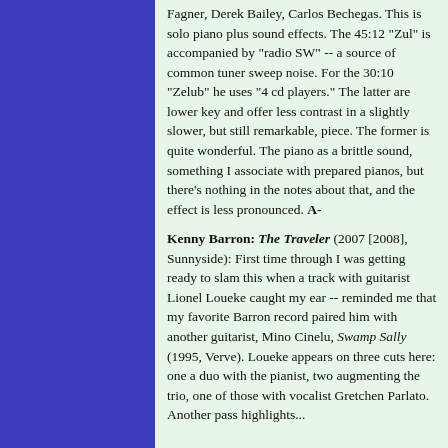Fagner, Derek Bailey, Carlos Bechegas. This is solo piano plus sound effects. The 45:12 "Zul" is accompanied by "radio SW" -- a source of common tuner sweep noise. For the 30:10 "Zelub" he uses "4 cd players." The latter are lower key and offer less contrast in a slightly slower, but still remarkable, piece. The former is quite wonderful. The piano as a brittle sound, something I associate with prepared pianos, but there's nothing in the notes about that, and the effect is less pronounced. A-
Kenny Barron: The Traveler (2007 [2008], Sunnyside): First time through I was getting ready to slam this when a track with guitarist Lionel Loueke caught my ear -- reminded me that my favorite Barron record paired him with another guitarist, Mino Cinelu, Swamp Sally (1995, Verve). Loueke appears on three cuts here: one a duo with the pianist, two augmenting the trio, one of those with vocalist Gretchen Parlato. Another pass highlights...